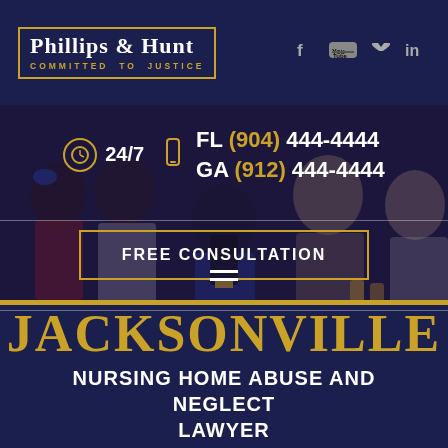[Figure (logo): Phillips & Hunt law firm logo — COMMITTED TO JUSTICE tagline — gold border box, white serif text, social media icons (Facebook, YouTube, Twitter, LinkedIn) to the right]
24/7   FL (904) 444-4444   GA (912) 444-4444
FREE CONSULTATION
JACKSONVILLE
NURSING HOME ABUSE AND NEGLECT LAWYER